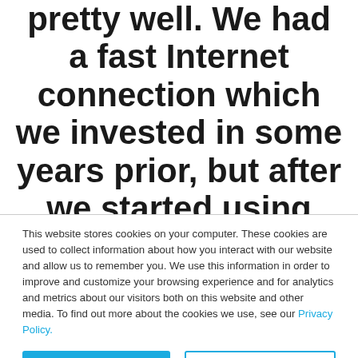pretty well. We had a fast Internet connection which we invested in some years prior, but after we started using G.FAST, the transfer speeds were pretty unbelievable. As with every business our most valuable commodity is time
This website stores cookies on your computer. These cookies are used to collect information about how you interact with our website and allow us to remember you. We use this information in order to improve and customize your browsing experience and for analytics and metrics about our visitors both on this website and other media. To find out more about the cookies we use, see our Privacy Policy.